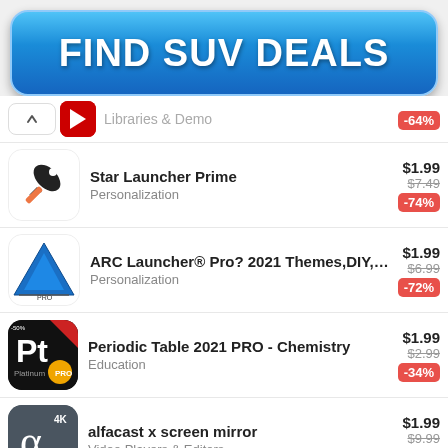[Figure (other): Blue gradient ad banner button with white bold text reading FIND SUV DEALS]
Libraries & Demo | -64%
Star Launcher Prime | Personalization | $1.99 | $7.49 | -74%
ARC Launcher® Pro? 2021 Themes,DIY,W... | Personalization | $1.99 | $6.99 | -72%
Periodic Table 2021 PRO - Chemistry | Education | $1.99 | $2.99 | -34%
alfacast x screen mirror | Video Players & Editors | $1.99 | $9.99 | -81%
X | $1.99 | $4-